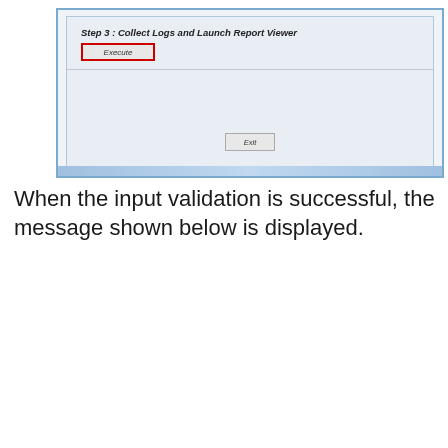[Figure (screenshot): Windows application dialog showing Step 3: Collect Logs and Launch Report Viewer with an Execute button highlighted in red border, a horizontal divider, and an Exit button at the bottom. A decorative gradient bar appears at the very bottom of the screenshot.]
When the input validation is successful, the message shown below is displayed.
[Figure (screenshot): Windows dialog box with blue title bar and red X close button. Body shows white panel with text: 'Logs have been successfully collected.' and 'Now launching excel application...' followed by a numbered list: 1. Click on refresh button 2. When prompted select file named [consolidated.csv highlighted in red] from folder location [C:\Temp highlighted in red] 3. Wait until chart appears. An OK button is at the bottom right.]